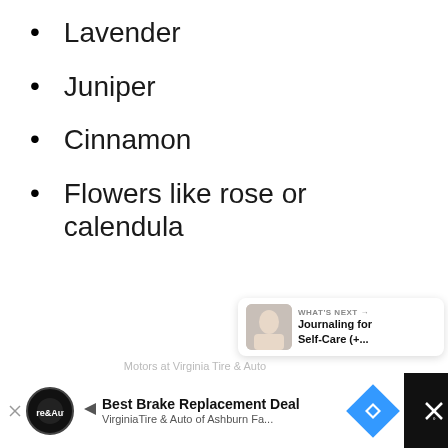Lavender
Juniper
Cinnamon
Flowers like rose or calendula
[Figure (screenshot): Website UI overlay showing a purple heart/like button, share button, a count of 217, and a 'What's Next' card showing 'Journaling for Self-Care (+...' with a thumbnail image.]
[Figure (screenshot): Advertisement bar at the bottom showing 'Best Brake Replacement Deal' from Virginia Tire & Auto with logo and a blue diamond navigation icon. A faded text 'Motors at Virginia Tire & Auto' is partially visible above.]